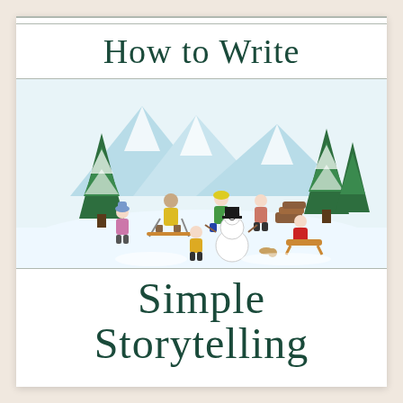How to Write
[Figure (illustration): Watercolor illustration of children playing in a snowy winter scene with pine trees and mountains in the background. Several children are shown skiing, sledding, building a snowman, and playing in the snow. The scene is colorful with children wearing bright winter clothing — yellow, pink, green, red jackets.]
Simple Storytelling